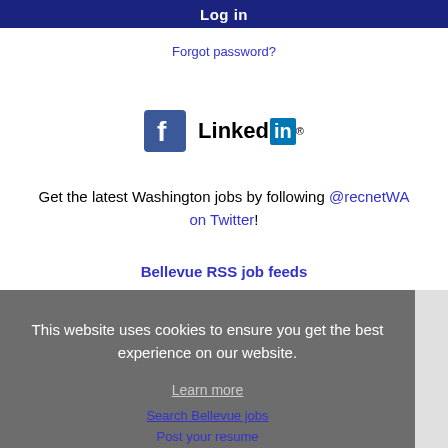Log in
Forgot password?
[Figure (logo): Facebook logo icon and LinkedIn logo side by side]
Get the latest Washington jobs by following @recnetWA on Twitter!
Bellevue RSS job feeds
This website uses cookies to ensure you get the best experience on our website.
Learn more
Got it! JOB SEEKERS
Search Bellevue jobs
Post your resume